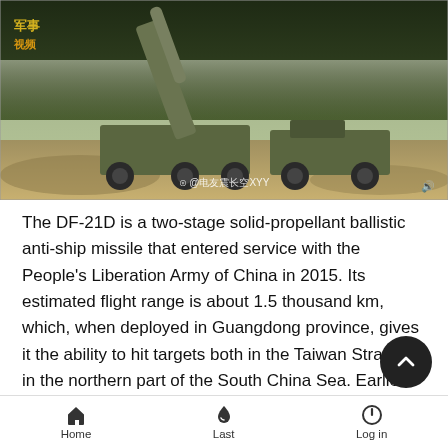[Figure (photo): Military vehicles with a missile launcher being raised on a dirt road with forested hills in the background. Yellow Chinese text watermark in upper left. Weibo watermark at bottom center reading @电友震长空XYY. A small speaker icon in bottom right corner.]
The DF-21D is a two-stage solid-propellant ballistic anti-ship missile that entered service with the People's Liberation Army of China in 2015. Its estimated flight range is about 1.5 thousand km, which, when deployed in Guangdong province, gives it the ability to hit targets both in the Taiwan Strait and in the northern part of the South China Sea. Earlier, the Hong Kong edition of the South China Morning Post reported that at a scientific conference held in October 2020, organized by the National Development and Reform Commission of the People's Republic of China, a professor at the Beijing University of Aviation and Astronautics - Beihang University and one of the authors of the
Home   Last   Log in